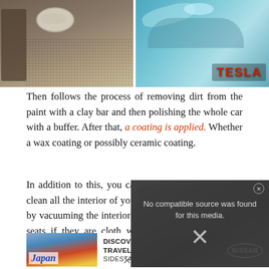[Figure (photo): Two photos side by side: left shows a dirty car floor mat with food/debris and a cup lid; right shows a Tesla car being washed with the Tesla logo visible in red]
Then follows the process of removing dirt from the paint with a clay bar and then polishing the whole car with a buffer. After that, a coating is applied. Whether a wax coating or possibly ceramic coating.
In addition to this, you can do interior detailing and clean all the interior of your vehicle. This is done first by vacuuming the interior and then vacuuming all the seats if they are cloth with a special vacuum that washes the cloth material.
[Figure (screenshot): Video player overlay showing 'No compatible source was found for this media.' with an X close button and a large X symbol, overlaid on a car interior (Nissan dashboard) background]
[Figure (photo): Advertisement: Japan travel image with pagoda and Mount Fuji, with text 'DISCOVER AMAZING TRAVEL SIDESTAGE.COM']